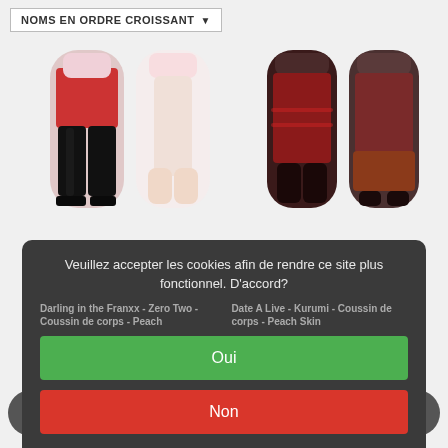NOMS EN ORDRE CROISSANT ▼
[Figure (photo): Two anime body pillows (dakimakura) showing a pink-haired character in red outfit and white outfit, left product]
[Figure (photo): Two anime body pillows (dakimakura) showing a dark-haired character in red frilly outfit, right product]
Darling in the Franxx - Zero Two - Coussin de corps - Peach
Date A Live - Kurumi - Coussin de corps - Peach Skin
Veuillez accepter les cookies afin de rendre ce site plus fonctionnel. D'accord?
Oui
Non
En savoir plus sur les témoins (cookies) »